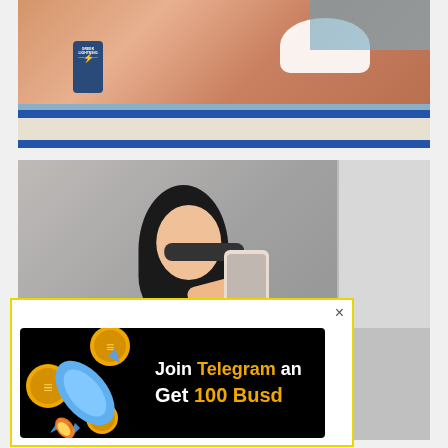[Figure (photo): Top photo showing a person lying on a boat deck in white bikini bottom with a blue can of Greek Lightning energy drink visible, water visible in background]
[Figure (photo): Mirror selfie photo of a young woman with dark hair and sunglasses on her head, wearing dark top, holding a gold iPhone, taken in what appears to be a changing room or hotel room]
[Figure (infographic): Popup advertisement with yellow border featuring a black banner with coins, rocket emoji, and text reading 'Join Telegram and Get 100 Busd' with Telegram in orange and 100 Busd in orange]
×